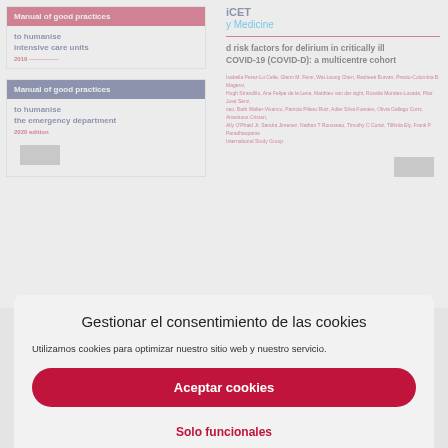[Figure (screenshot): Background showing two book covers (Manual of good practices to humanise intensive care units, Manual of good practices to humanise the emergency department) on the left, and a medical journal article page on the right with title about risk factors for delirium in critically ill COVID-19 patients.]
Gestionar el consentimiento de las cookies
Utilizamos cookies para optimizar nuestro sitio web y nuestro servicio.
Aceptar cookies
Solo funcionales
Ver preferencias